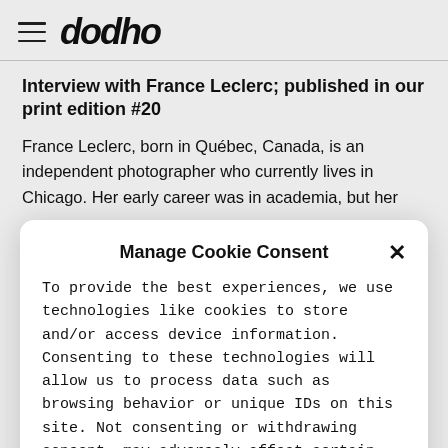dodho
Interview with France Leclerc; published in our print edition #20
France Leclerc, born in Québec, Canada, is an independent photographer who currently lives in Chicago. Her early career was in academia, but her
Manage Cookie Consent
To provide the best experiences, we use technologies like cookies to store and/or access device information. Consenting to these technologies will allow us to process data such as browsing behavior or unique IDs on this site. Not consenting or withdrawing consent, may adversely affect certain features and functions. More Info
Accept